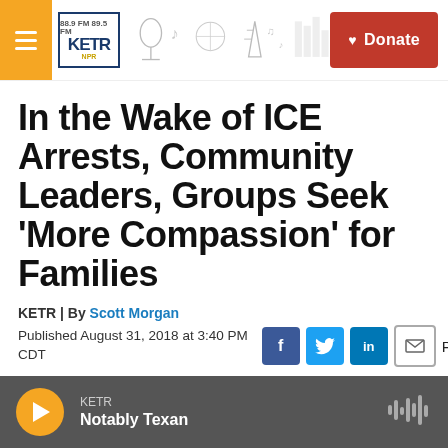KETR Radio — Donate
In the Wake of ICE Arrests, Community Leaders, Groups Seek 'More Compassion' for Families
KETR | By Scott Morgan
Published August 31, 2018 at 3:40 PM CDT
[Figure (other): Audio player bar at bottom: KETR, Notably Texan, with play button and waveform icon]